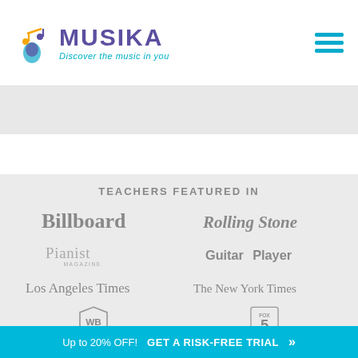[Figure (logo): Musika logo with musical note icon, purple MUSIKA text, and teal italic tagline 'Discover the music in you']
TEACHERS FEATURED IN
[Figure (logo): Billboard magazine logo in gray]
[Figure (logo): Rolling Stone magazine logo in gray]
[Figure (logo): Pianist Magazine logo in gray]
[Figure (logo): Guitar Player magazine logo in gray]
[Figure (logo): Los Angeles Times newspaper logo in gray]
[Figure (logo): The New York Times newspaper logo in gray]
[Figure (logo): Warner Bros WB shield logo in gray]
[Figure (logo): Fox 5 news logo in gray]
Contact Us
Up to 20% OFF!  GET A RISK-FREE TRIAL »